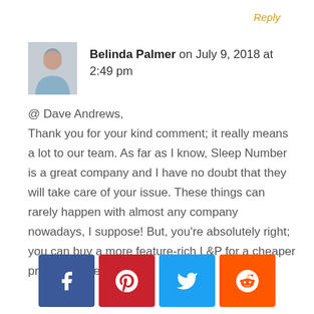Reply
Belinda Palmer on July 9, 2018 at 2:49 pm
@ Dave Andrews,
Thank you for your kind comment; it really means a lot to our team. As far as I know, Sleep Number is a great company and I have no doubt that they will take care of your issue. These things can rarely happen with almost any company nowadays, I suppose! But, you're absolutely right; you can buy a more feature-rich L&P for a cheaper price than the Sleep
[Figure (infographic): Social sharing buttons: Facebook (blue), Pinterest (red), Twitter (light blue), Reddit (orange)]